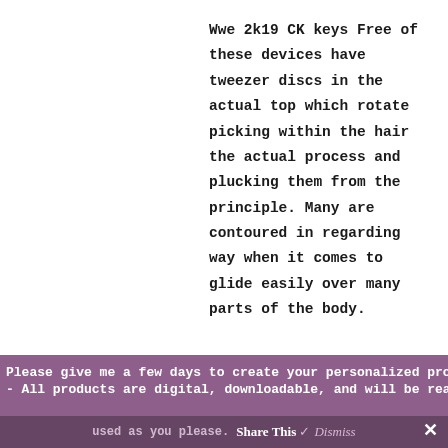Wwe 2k19 CK keys Free of these devices have tweezer discs in the actual top which rotate picking within the hair the actual process and plucking them from the principle. Many are contoured in regarding way when it comes to glide easily over many parts of the body.
Please give me a few days to create your personalized product. - - All products are digital, downloadable, and will be ready to be used as you please. Share This Dismiss ×